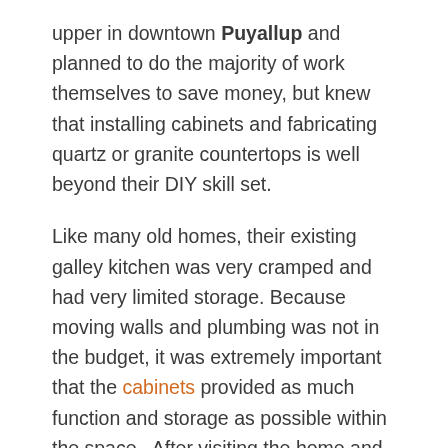upper in downtown Puyallup and planned to do the majority of work themselves to save money, but knew that installing cabinets and fabricating quartz or granite countertops is well beyond their DIY skill set.
Like many old homes, their existing galley kitchen was very cramped and had very limited storage. Because moving walls and plumbing was not in the budget, it was extremely important that the cabinets provided as much function and storage as possible within the space.  After visiting the home and discussing their goals and style preferences we came up with a great design that met their budget as well as their needs.